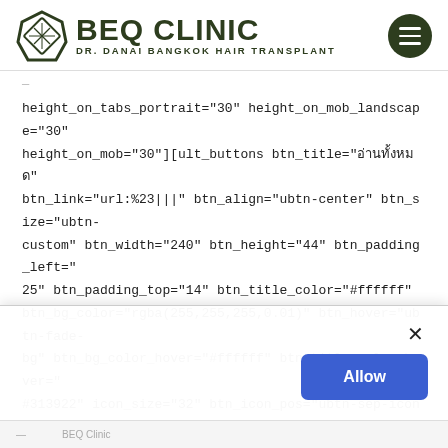[Figure (logo): BEQ Clinic logo with diamond icon and text 'DR. DANAI BANGKOK HAIR TRANSPLANT', plus hamburger menu icon]
height_on_tabs_portrait="30" height_on_mob_landscape="30" height_on_mob="30"][ult_buttons btn_title="อ่านทั้งหมด" btn_link="url:%23|||" btn_align="ubtn-center" btn_size="ubtn-custom" btn_width="240" btn_height="44" btn_padding_left="25" btn_padding_top="14" btn_title_color="#ffffff" btn_bg_color="rgba(255,255,255,0.01)" btn_hover="ubtn-fade-bg" btn_bg_color_hover="#ffffff" btn_title_color_hover="#313922" icon_size="32" btn_icon_pos="ubtn-sep-icon-at-left" btn_border_style="solid" btn_color_border="
[Figure (screenshot): Cookie consent popup with close X button and blue Allow button]